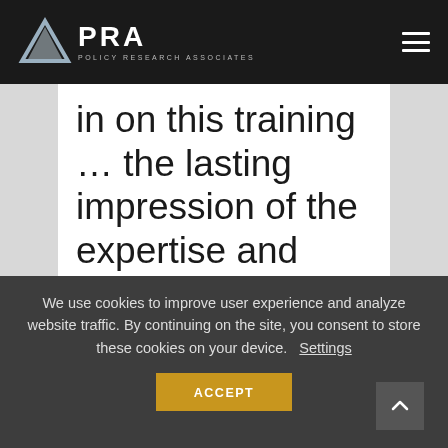APRA — Policy Research Associates
in on this training … the lasting impression of the expertise and passion I
We use cookies to improve user experience and analyze website traffic. By continuing on the site, you consent to store these cookies on your device.